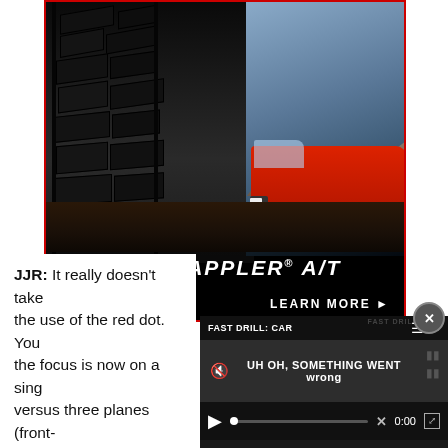[Figure (photo): Advertisement for Recon Grappler A/T tire. Shows a close-up of an aggressive all-terrain tire tread on the left, with a red pickup truck visible in the background on the right. Dark ground/dirt below. Text overlay reads 'RECON GRAPPLER A/T' in large white bold italic font, and 'LEARN MORE ▶' as a call to action. Image has a red border.]
[Figure (screenshot): Video player overlay showing 'FAST DRILL: CAR' title, error message 'Uh oh, something went wrong', mute icon, play button, progress bar, 0:00 timestamp, and fullscreen button. Dark background. Close button (X) in top right corner.]
JJR: It really doesn't take the use of the red dot. You the focus is now on a sing versus three planes (front-